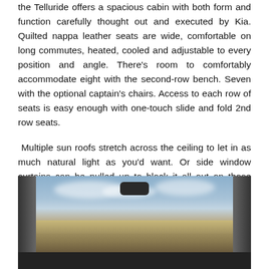The Telluride offers a spacious cabin with both form and function carefully thought out and executed by Kia. Quilted nappa leather seats are wide, comfortable on long commutes, heated, cooled and adjustable to every position and angle. There's room to comfortably accommodate eight with the second-row bench. Seven with the optional captain's chairs. Access to each row of seats is easy enough with one-touch slide and fold 2nd row seats.
Multiple sun roofs stretch across the ceiling to let in as much natural light as you'd want. Or side window curtains can be pulled up to block it all out on those especially bright Arizona summer days. Interior acoustics are nicely insulated. Kia even included an acoustic conscious front windshield and front door glass to ensure a quite ride.
[Figure (photo): Interior view from inside a Kia Telluride SUV looking through the windshield at an open desert landscape with blue sky and clouds. The rearview mirror is visible at the top center, A-pillars frame both sides, and the dashboard is visible at the bottom.]